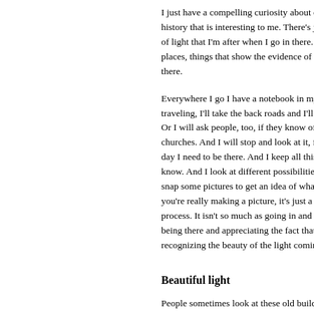I just have a compelling curiosity about old b... history that is interesting to me. There's just... of light that I'm after when I go in there. I like places, things that show the evidence of peo... there.
Everywhere I go I have a notebook in my ca... traveling, I'll take the back roads and I'll see... Or I will ask people, too, if they know of any churches. And I will stop and look at it, figure day I need to be there. And I keep all this in know. And I look at different possibilities. So snap some pictures to get an idea of what I'm you're really making a picture, it's just a cont... process. It isn't so much as going in and tak... being there and appreciating the fact that yo... recognizing the beauty of the light coming in...
Beautiful light
People sometimes look at these old building... you're taking pictures of falling down old bui... from my kids' point of view. They say, "Well, with death." And I say, "No, I'm not at all. I'm light and it's beautiful to recognize the...